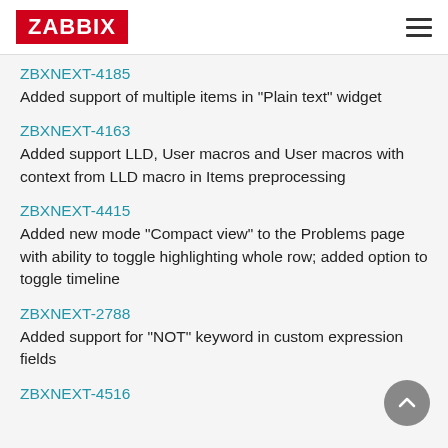ZABBIX
ZBXNEXT-4185
Added support of multiple items in "Plain text" widget
ZBXNEXT-4163
Added support LLD, User macros and User macros with context from LLD macro in Items preprocessing
ZBXNEXT-4415
Added new mode "Compact view" to the Problems page with ability to toggle highlighting whole row; added option to toggle timeline
ZBXNEXT-2788
Added support for "NOT" keyword in custom expression fields
ZBXNEXT-4516